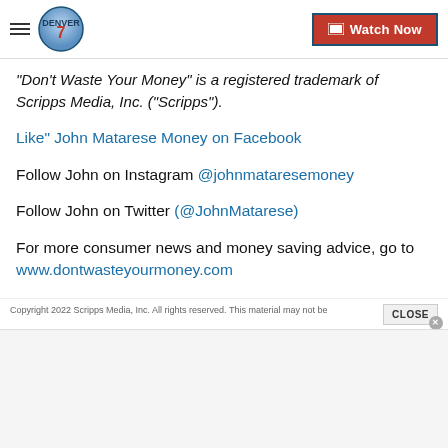Denver 7 — Watch Now
"Don't Waste Your Money" is a registered trademark of Scripps Media, Inc. ("Scripps").
Like" John Matarese Money on Facebook
Follow John on Instagram @johnmataresemoney
Follow John on Twitter (@JohnMatarese)
For more consumer news and money saving advice, go to www.dontwasteyourmoney.com
Copyright 2022 Scripps Media, Inc. All rights reserved. This material may not be published...